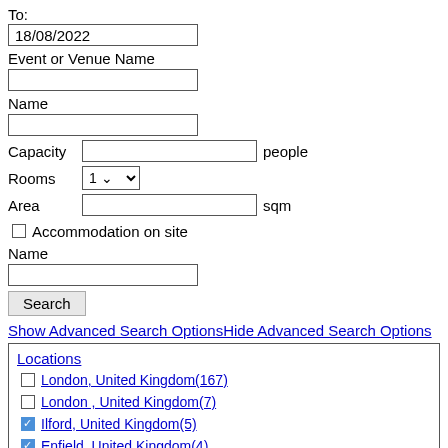To:
18/08/2022
Event or Venue Name
Name
Capacity   [input]  people
Rooms  1 [dropdown]
Area   [input]  sqm
Accommodation on site
Name
Search
Show Advanced Search OptionsHide Advanced Search Options
Locations
London, United Kingdom(167)
London , United Kingdom(7)
Ilford, United Kingdom(5)
Enfield, United Kingdom(4)
Croydon, United Kingdom(3)
tower hamlets , United Kingdom(2)
Hounslow, United Kingdom(2)